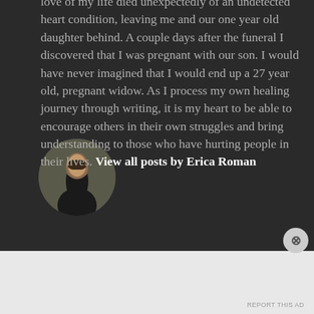love of my life died unexpectedly of an undetected heart condition, leaving me and our one year old daughter behind. A couple days after the funeral I discovered that I was pregnant with our son. I would have never imagined that I would end up a 27 year old, pregnant widow. As I process my own healing journey through writing, it is my heart to be able to encourage others in their own struggles and bring understanding to those who have hurting people in their lives. View all posts by Erica Roman
[Figure (photo): Circular profile photo of a woman in a black dress sitting outdoors among trees]
Advertisements